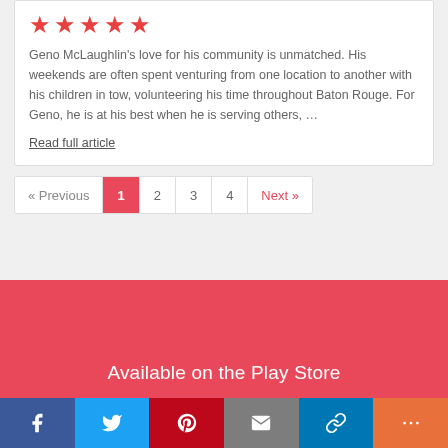[Figure (other): Five red star rating]
Geno McLaughlin's love for his community is unmatched. His weekends are often spent venturing from one location to another with his children in tow, volunteering his time throughout Baton Rouge. For Geno, he is at his best when he is serving others, ...
Read full article
« Previous  1  2  3  4  Next »
Available on the Play Store
[Figure (infographic): Social media share bar with Facebook, Twitter, Pinterest, Email, Link, and More buttons]